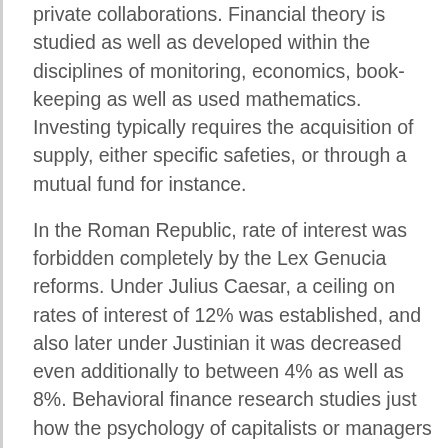private collaborations. Financial theory is studied as well as developed within the disciplines of monitoring, economics, book-keeping as well as used mathematics. Investing typically requires the acquisition of supply, either specific safeties, or through a mutual fund for instance.
In the Roman Republic, rate of interest was forbidden completely by the Lex Genucia reforms. Under Julius Caesar, a ceiling on rates of interest of 12% was established, and also later under Justinian it was decreased even additionally to between 4% as well as 8%. Behavioral finance research studies just how the psychology of capitalists or managers impacts economic choices and also markets and also matters when making a decision that can influence either negatively or positively on among their areas. Behavioral finance has grown over the last few years to become an essential facet of finance. “ Trees” are commonly applied in mathematical money; here used in